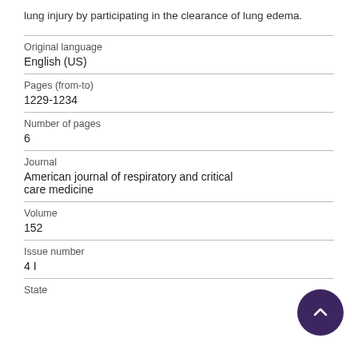lung injury by participating in the clearance of lung edema.
| Original language | English (US) |
| Pages (from-to) | 1229-1234 |
| Number of pages | 6 |
| Journal | American journal of respiratory and critical care medicine |
| Volume | 152 |
| Issue number | 4 I |
| State |  |